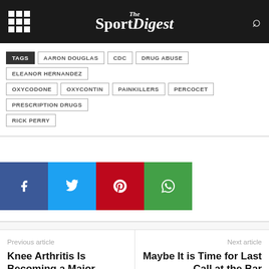The Sport Digest
TAGS  AARON DOUGLAS  CDC  DRUG ABUSE  ELEANOR HERNANDEZ  OXYCODONE  OXYCONTIN  PAINKILLERS  PERCOCET  PRESCRIPTION DRUGS  RICK PERRY
[Figure (other): Social share buttons: Facebook (blue), Twitter (light blue), Pinterest (red), WhatsApp (green)]
Previous article
Knee Arthritis Is Becoming a Major Medical Problem
Next article
Maybe It is Time for Last Call at the Bar
RELATED ARTICLES  MORE FROM AUTHOR